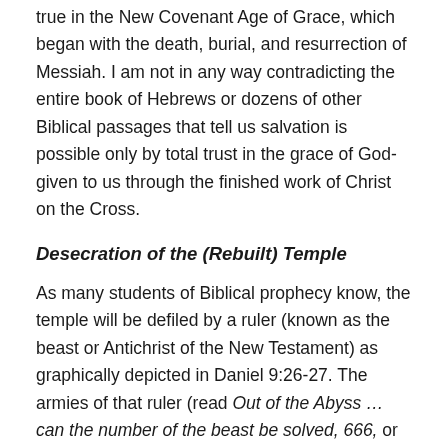true in the New Covenant Age of Grace, which began with the death, burial, and resurrection of Messiah. I am not in any way contradicting the entire book of Hebrews or dozens of other Biblical passages that tell us salvation is possible only by total trust in the grace of God-given to us through the finished work of Christ on the Cross.
Desecration of the (Rebuilt) Temple
As many students of Biblical prophecy know, the temple will be defiled by a ruler (known as the beast or Antichrist of the New Testament) as graphically depicted in Daniel 9:26-27. The armies of that ruler (read Out of the Abyss … can the number of the beast be solved, 666, or Eye of Prophecy articles in the category of Antichrist for the identity of this man) destroyed the 2nd Temple in 70 AD, as predicted by Daniel in Verse 26. Upon the return of this